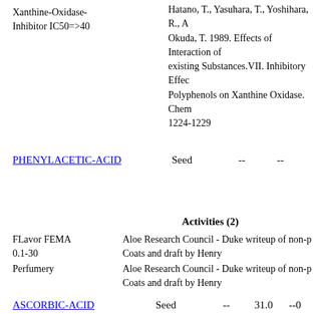Xanthine-Oxidase-Inhibitor IC50=>40
Hatano, T., Yasuhara, T., Yoshihara, R., A Okuda, T. 1989. Effects of Interaction of existing Substances.VII. Inhibitory Effec Polyphenols on Xanthine Oxidase. Chem 1224-1229
PHENYLACETIC-ACID  Seed  --  --
Activities (2)
FLavor FEMA 0.1-30
Aloe Research Council - Duke writeup of non-p Coats and draft by Henry
Perfumery
Aloe Research Council - Duke writeup of non-p Coats and draft by Henry
ASCORBIC-ACID  Seed  --  31.0  --0